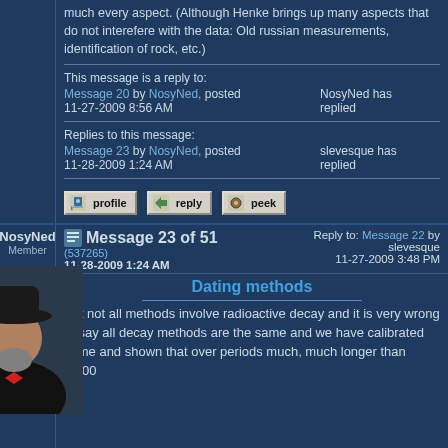much every aspect. (Although Henke brings up many aspects that do not interferefere with the data: Old russian measurements, identification of rock, etc.)
This message is a reply to:
Message 20 by NosyNed, posted 11-27-2009 8:56 AM | NosyNed has replied
Replies to this message:
Message 23 by NosyNed, posted 11-28-2009 1:24 AM | slevesque has replied
[Figure (screenshot): Forum action buttons: profile, reply, peek]
NosyNed Member
Message 23 of 51 (537265) 11-28-2009 1:24 AM | Reply to: Message 22 by slevesque 11-27-2009 3:48 PM
[Figure (photo): Avatar photo of user NosyNed: man in black suit and hat with beard]
Dating methods
But not all methods involve radioactive decay and it is very wrong to say all decay methods are the same and we have calibrated some and shown that over periods much, much longer than 6,000